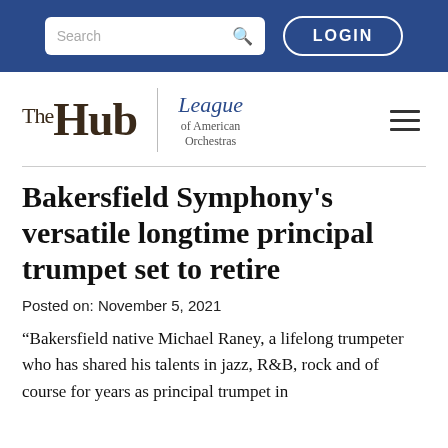Search LOGIN
[Figure (logo): The Hub | League of American Orchestras logo with hamburger menu]
Bakersfield Symphony's versatile longtime principal trumpet set to retire
Posted on: November 5, 2021
“Bakersfield native Michael Raney, a lifelong trumpeter who has shared his talents in jazz, R&B, rock and of course for years as principal trumpet in